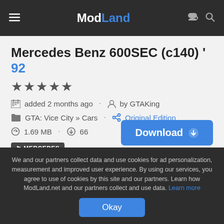ModLand
Mercedes Benz 600SEC (c140) ' 92
★★★★★
added 2 months ago · by GTAKing
GTA: Vice City » Cars · Original Edition
1.69 MB · 66
MERCEDES
Download
We and our partners collect data and use cookies for ad personalization, measurement and improved user experience. By using our services, you agree to use of cookies by this site and our partners. Learn how ModLand.net and our partners collect and use data. Learn more
Okay